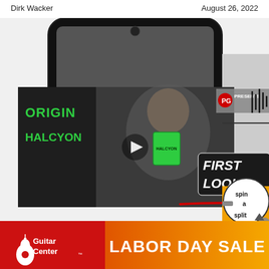Dirk Wacker
August 26, 2022
[Figure (screenshot): Screenshot of a webpage showing a video player with a man holding a green guitar pedal, overlaid with text 'ORIGIN HALCYON', 'PG PRESENTS', 'FIRST LOOK' logo, and a 'spin a split' promotional circle. Below is a smartphone/device frame. A Guitar Center Labor Day Sale advertisement banner runs across the bottom.]